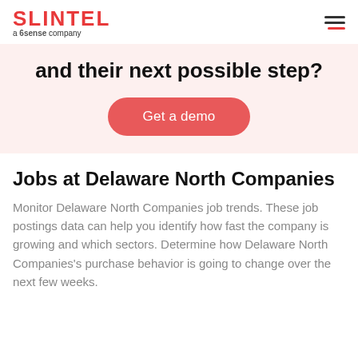SLINTEL a 6sense company
and their next possible step?
[Figure (other): Red rounded button with white text reading 'Get a demo']
Jobs at Delaware North Companies
Monitor Delaware North Companies job trends. These job postings data can help you identify how fast the company is growing and which sectors. Determine how Delaware North Companies's purchase behavior is going to change over the next few weeks.